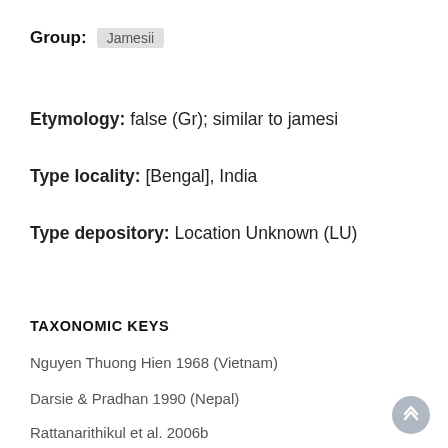Group: Jamesii
Etymology: false (Gr); similar to jamesi
Type locality: [Bengal], India
Type depository: Location Unknown (LU)
TAXONOMIC KEYS
Nguyen Thuong Hien 1968 (Vietnam)
Darsie & Pradhan 1990 (Nepal)
Rattanarithikul et al. 2006b